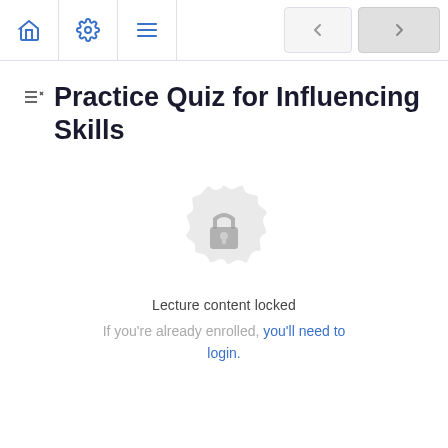Navigation bar with home, settings, menu icons and prev/next buttons
Practice Quiz for Influencing Skills
[Figure (illustration): A locked badge icon — circular gear/rosette shape in light gray with a padlock symbol in the center, indicating locked content]
Lecture content locked
If you're already enrolled, you'll need to login.